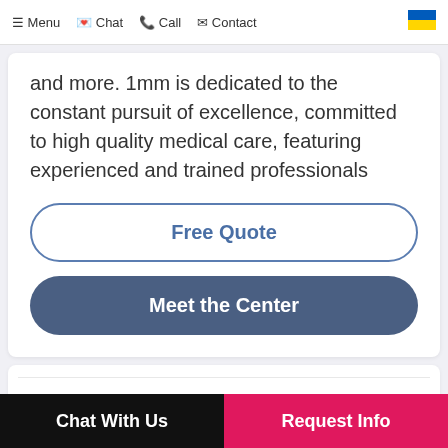Menu  Chat  Call  Contact
and more. 1mm is dedicated to the constant pursuit of excellence, committed to high quality medical care, featuring experienced and trained professionals
Free Quote
Meet the Center
Chat With Us  Request Info